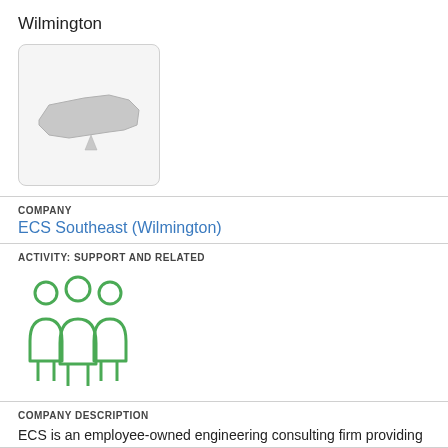Wilmington
[Figure (map): Small map thumbnail showing the shape of North Carolina state in gray on a light background, inside a rounded rectangle border.]
COMPANY
ECS Southeast (Wilmington)
ACTIVITY: SUPPORT AND RELATED
[Figure (illustration): Green icon showing three human figures standing side by side, representing a group of people or team.]
COMPANY DESCRIPTION
ECS is an employee-owned engineering consulting firm providing geotechnical, construction materials testing, environmental and facilities consulting services.